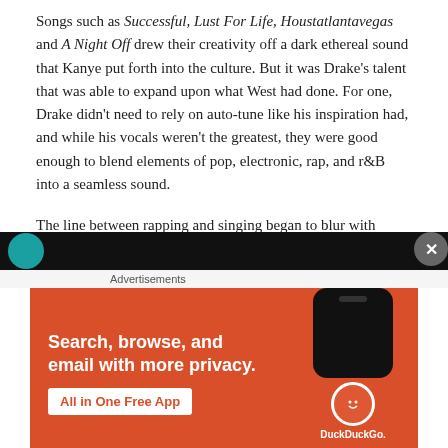Songs such as Successful, Lust For Life, Houstatlantavegas and A Night Off drew their creativity off a dark ethereal sound that Kanye put forth into the culture. But it was Drake's talent that was able to expand upon what West had done. For one, Drake didn't need to rely on auto-tune like his inspiration had, and while his vocals weren't the greatest, they were good enough to blend elements of pop, electronic, rap, and r&B into a seamless sound.
The line between rapping and singing began to blur with Drake's talent and eventually led to the current climate of Hip-Hop/R&B we're in today.
The success of the album grew through word of mouth via internet forums, mixtape websites, and the early stages of social media. At the time Drake had also found a mentor in Lil Wayne who's stardom helped Drake get recognition within the United States.
[Figure (screenshot): DuckDuckGo advertisement banner with orange background showing 'Search, browse, and email with more privacy. All in One Free App' with phone image and DuckDuckGo logo]